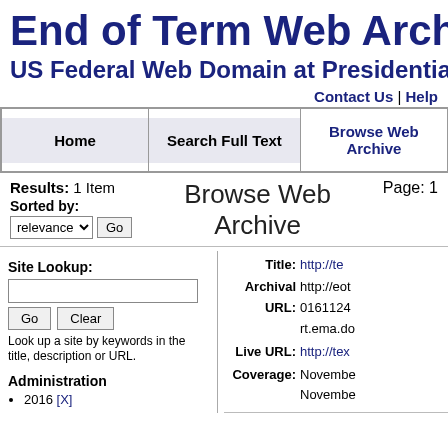End of Term Web Archive
US Federal Web Domain at Presidential
Contact Us | Help
| Home | Search Full Text | Browse Web Archive |
| --- | --- | --- |
Results: 1 Item
Browse Web Archive
Page: 1
Sorted by:
Site Lookup:
Look up a site by keywords in the title, description or URL.
Administration
2016 [X]
Title: http://te...
Archival URL: http://eot...0161124...rt.ema.do...
Live URL: http://tex...
Coverage: November...November...